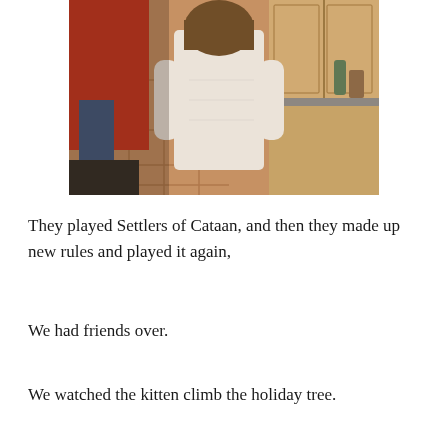[Figure (photo): A child seen from behind wearing a white sweater, standing at a kitchen counter. An adult in a red top is visible to the left. The kitchen has orange/terracotta tile flooring and wooden cabinets.]
They played Settlers of Cataan, and then they made up new rules and played it again,
We had friends over.
We watched the kitten climb the holiday tree.